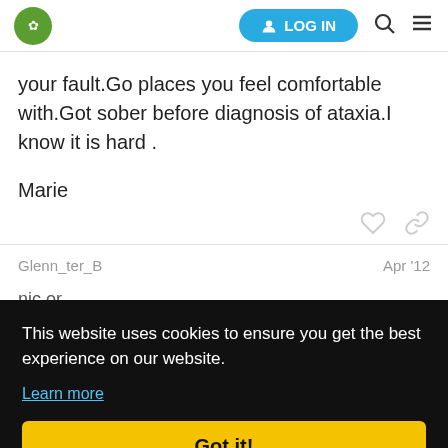LOG IN
your fault.Go places you feel comfortable with.Got sober before diagnosis of ataxia.I know it is hard .
Marie
Glenn_ter_B Apr '12
nic or are ever I bing ds as
This website uses cookies to ensure you get the best experience on our website.
Learn more
Got it!
Ataxia symptoms worsen with alcohol. I'r